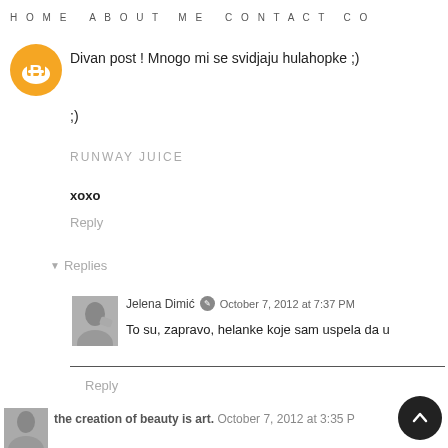HOME   ABOUT ME   CONTACT   CO
[Figure (illustration): Orange circle avatar with white Blogger B logo]
Divan post ! Mnogo mi se svidjaju hulahopke ;)
;)
RUNWAY JUICE
xoxo
Reply
▾ Replies
[Figure (photo): Small avatar photo of Jelena Dimic]
Jelena Dimić  October 7, 2012 at 7:37 PM
To su, zapravo, helanke koje sam uspela da u
Reply
[Figure (photo): Small avatar photo of the creation of beauty is art]
the creation of beauty is art.  October 7, 2012 at 3:35 P